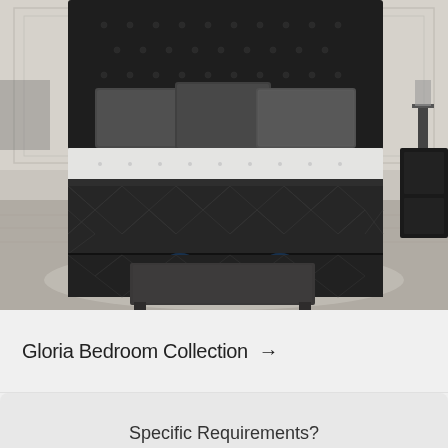[Figure (photo): A dark charcoal bedroom set featuring a tufted upholstered headboard, a luxury mattress with white pillow-top layer, a quilted dark box spring, a bench at the foot of the bed, and a dark nightstand visible on the right. The bedroom has a neutral gray/beige color palette with wood flooring and area rug.]
Gloria Bedroom Collection →
Specific Requirements?